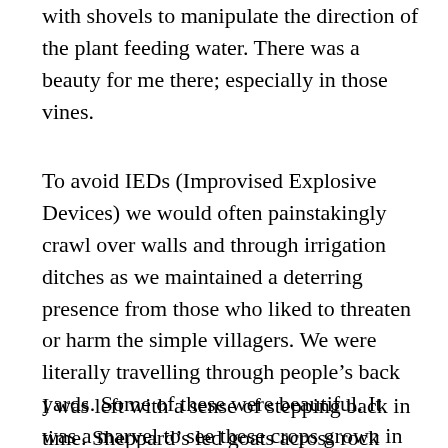with shovels to manipulate the direction of the plant feeding water. There was a beauty for me there; especially in those vines.
To avoid IEDs (Improvised Explosive Devices) we would often painstakingly crawl over walls and through irrigation ditches as we maintained a deterring presence from those who liked to threaten or harm the simple villagers. We were literally travelling through people's back yards. Some of these were beautiful. It was a marvel to see these crops grown in much the same way as they must have been since the very beginning.
I was left with a sense of stepping back in time. Sheppard's led goats across rock strewn